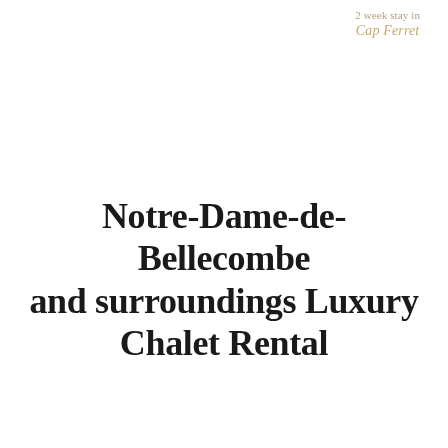2 week stay in Cap Ferret
Notre-Dame-de-Bellecombe and surroundings Luxury Chalet Rental